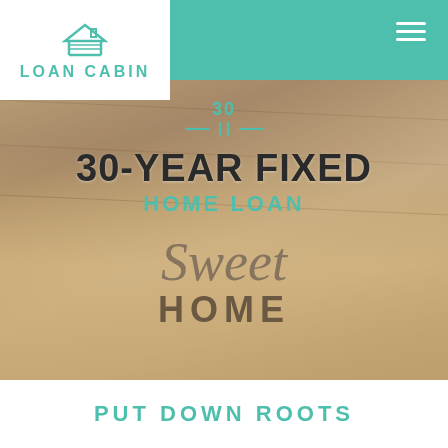[Figure (logo): Loan Cabin logo: house/cabin icon above text LOAN CABIN in teal, on white background]
[Figure (photo): Background photo of people standing on hardwood floor near a doormat reading Sweet Home, with a hero banner overlay showing 30-YEAR FIXED HOME LOAN text]
30-YEAR FIXED
HOME LOAN
PUT DOWN ROOTS